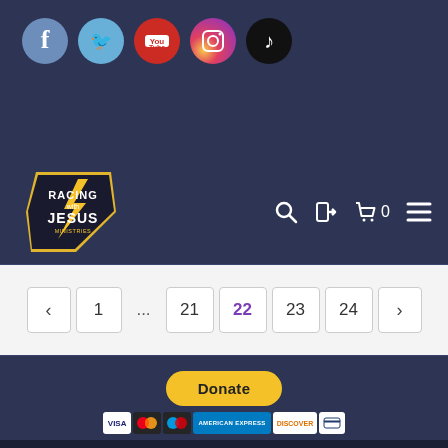[Figure (logo): Social media icons row: Facebook (blue circle), Twitter (light blue circle), YouTube (red circle), Instagram (gradient circle), TikTok (black circle)]
[Figure (logo): Racing with Jesus Ministries logo - shield/badge shape with lightning bolt, purple and gold colors]
[Figure (infographic): Navigation icons: search magnifier, login arrow, shopping cart with 0, hamburger menu]
[Figure (infographic): Pagination: < 1 ... 21 22 23 24 > with 22 highlighted in purple]
[Figure (infographic): Donate button (yellow pill shape) with PayPal payment card icons below: Visa, Mastercard, Maestro, AmEx, Discover, bank card]
VERSE OF THE DAY
"He who did not spare his own Son, but gave him up for us all—